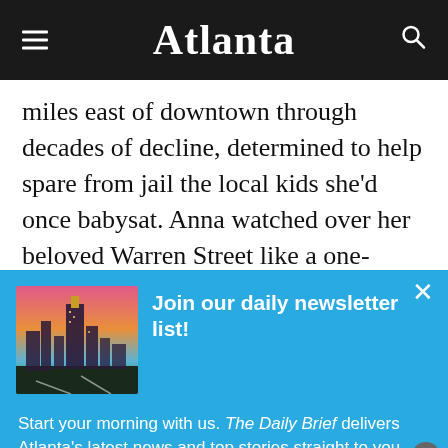Atlanta
miles east of downtown through decades of decline, determined to help spare from jail the local kids she’d once babysat. Anna watched over her beloved Warren Street like a one-woman police force and benevolent monarch. Her kids say she liked to cut
[Figure (screenshot): Newsletter signup popup overlay with Atlanta skyline image and text: Join our daily newsletter list! Start your morning with us. The Daily Brief delivers Atlanta’s top stories...]
Join our daily newsletter list!
Start your morning with us. The Daily Brief delivers Atlanta’s latest news and top stories straight to you...